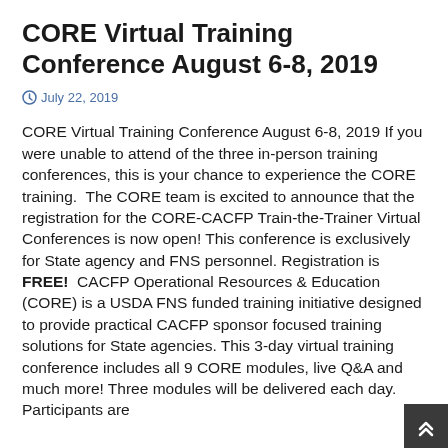CORE Virtual Training Conference August 6-8, 2019
July 22, 2019
CORE Virtual Training Conference August 6-8, 2019 If you were unable to attend of the three in-person training conferences, this is your chance to experience the CORE training.  The CORE team is excited to announce that the registration for the CORE-CACFP Train-the-Trainer Virtual Conferences is now open! This conference is exclusively for State agency and FNS personnel. Registration is FREE!  CACFP Operational Resources & Education (CORE) is a USDA FNS funded training initiative designed to provide practical CACFP sponsor focused training solutions for State agencies. This 3-day virtual training conference includes all 9 CORE modules, live Q&A and much more! Three modules will be delivered each day. Participants are